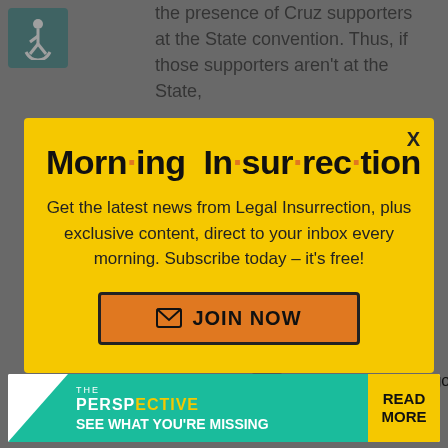the presence of Cruz supporters at the State convention. Thus, if those supporters aren't at the State,
[Figure (other): Wheelchair accessibility icon on teal background]
Morning Insurrection newsletter modal popup. Get the latest news from Legal Insurrection, plus exclusive content, direct to your inbox every morning. Subscribe today – it's free! JOIN NOW button.
wrested from the political machine that got us in to this in
[Figure (other): THE PERSPECTIVE advertisement banner: SEE WHAT YOU'RE MISSING - READ MORE]